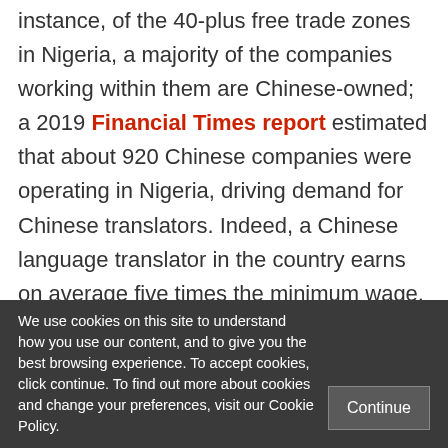instance, of the 40-plus free trade zones in Nigeria, a majority of the companies working within them are Chinese-owned; a 2019 Financial Times report estimated that about 920 Chinese companies were operating in Nigeria, driving demand for Chinese translators. Indeed, a Chinese language translator in the country earns on average five times the minimum wage. A 2021 World Population Review record shows that four of
We use cookies on this site to understand how you use our content, and to give you the best browsing experience. To accept cookies, click continue. To find out more about cookies and change your preferences, visit our Cookie Policy.